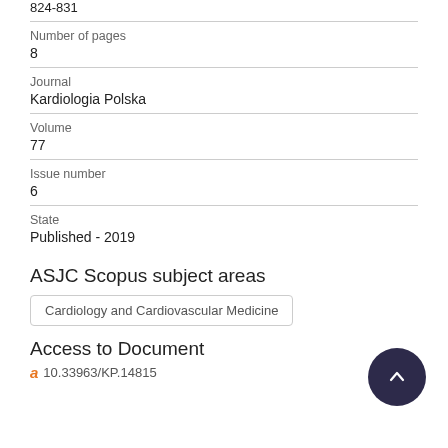824-831
Number of pages
8
Journal
Kardiologia Polska
Volume
77
Issue number
6
State
Published - 2019
ASJC Scopus subject areas
Cardiology and Cardiovascular Medicine
Access to Document
10.33963/KP.14815